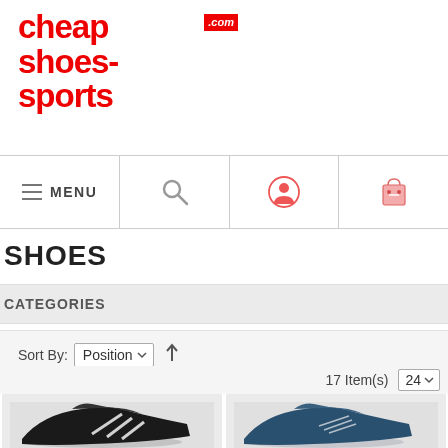[Figure (logo): cheap shoes-sports .com logo in red with white .com box]
[Figure (screenshot): Navigation bar with menu, search, account, and cart icons]
SHOES
CATEGORIES
Sort By: Position ↑
17 Item(s)  24
[Figure (photo): Product card showing black Adidas sneaker]
[Figure (photo): Product card showing blue sneaker]